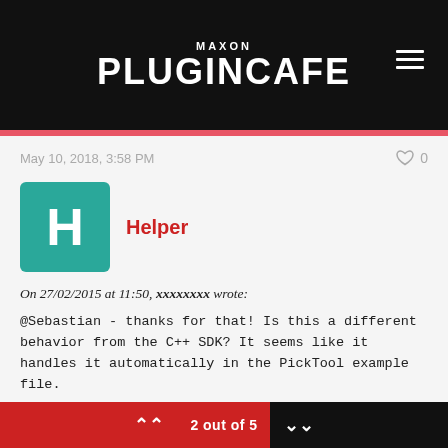MAXON PLUGINCAFE
May 10, 2018, 3:58 PM
[Figure (other): User avatar: teal square with white letter H representing user Helper]
Helper
On 27/02/2015 at 11:50, xxxxxxxx wrote:
@Sebastian - thanks for that! Is this a different behavior from the C++ SDK? It seems like it handles it automatically in the PickTool example file.

For anyone that's trying to get object highlighting to work in their ToolData plugin, just drop in these methods:
2 out of 5